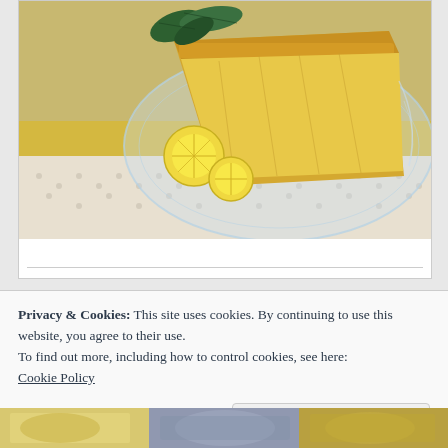[Figure (photo): A slice of lemon chess pie or lemon cake on a decorative glass plate, garnished with lemon slices and green leaves. The plate sits on a yellow cloth napkin over a white lace doily.]
Privacy & Cookies: This site uses cookies. By continuing to use this website, you agree to their use.
To find out more, including how to control cookies, see here:
Cookie Policy
Close and accept
[Figure (photo): Bottom strip showing partial food photos]